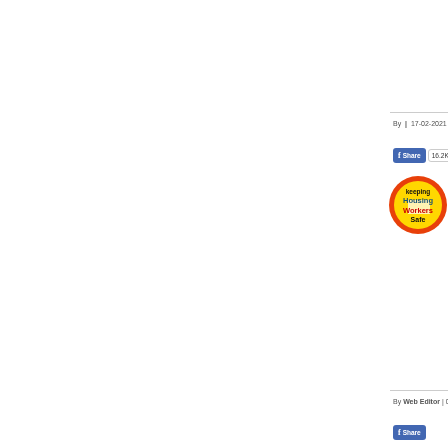By  |  17-02-2021 15:...
[Figure (logo): Facebook Share button with 16.2K count indicator]
[Figure (logo): Keeping Housing Workers Safe circular logo with orange border, yellow background, showing 'Keeping Housing Workers Safe' text in black, blue and red]
By Web Editor  |  06...